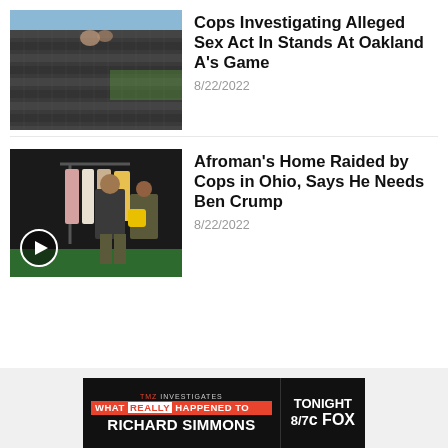[Figure (photo): Stadium bleacher seats with people visible in the upper rows, outdoor daylight scene at the Oakland A's baseball stadium.]
Cops Investigating Alleged Sex Act In Stands At Oakland A's Game
8/22/2022
[Figure (photo): Police officers conducting a raid inside a home, searching through clothing hanging on a rack. A play button overlay is visible indicating this is a video thumbnail.]
Afroman's Home Raided by Cops in Ohio, Says He Needs Ben Crump
8/22/2022
[Figure (other): TMZ Investigates advertisement banner: 'WHAT REALLY HAPPENED TO RICHARD SIMMONS — TONIGHT 8/7c FOX']